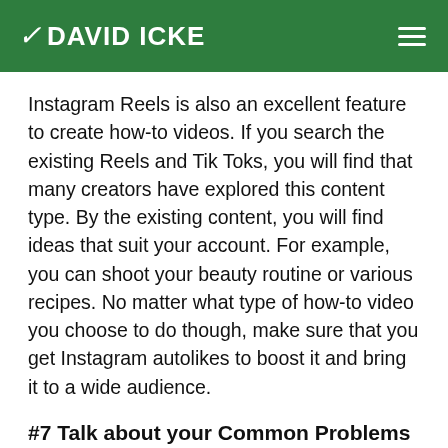DAVID ICKE
Instagram Reels is also an excellent feature to create how-to videos. If you search the existing Reels and Tik Toks, you will find that many creators have explored this content type. By the existing content, you will find ideas that suit your account. For example, you can shoot your beauty routine or various recipes. No matter what type of how-to video you choose to do though, make sure that you get Instagram autolikes to boost it and bring it to a wide audience.
#7 Talk about your Common Problems